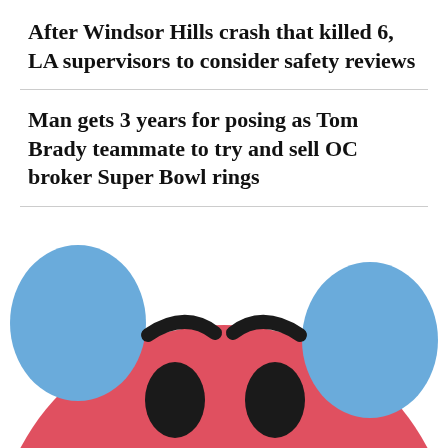After Windsor Hills crash that killed 6, LA supervisors to consider safety reviews
Man gets 3 years for posing as Tom Brady teammate to try and sell OC broker Super Bowl rings
[Figure (illustration): A crying face emoji illustration with a pinkish-red round face, blue teardrop shapes on either side of the forehead, black arched eyebrows, black oval eyes, and an open crying mouth with pink interior, cropped at the bottom of the page.]